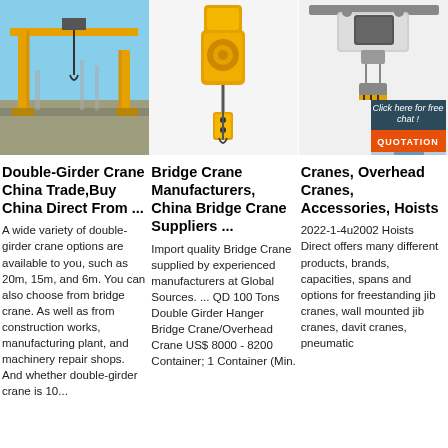[Figure (photo): Yellow double-girder gantry crane at construction site with blue sky]
[Figure (photo): Yellow electric chain hoist hanging, with yellow pendant control]
[Figure (photo): Industrial overhead crane/hoist unit in white and black with 24/7 Online customer service overlay and woman with headset]
Double-Girder Crane China Trade,Buy China Direct From ...
Bridge Crane Manufacturers, China Bridge Crane Suppliers ...
Cranes, Overhead Cranes, Accessories, Hoists
A wide variety of double-girder crane options are available to you, such as 20m, 15m, and 6m. You can also choose from bridge crane. As well as from construction works, manufacturing plant, and machinery repair shops. And whether double-girder crane is 10...
Import quality Bridge Crane supplied by experienced manufacturers at Global Sources. ... QD 100 Tons Double Girder Hanger Bridge Crane/Overhead Crane US$ 8000 - 8200 Container; 1 Container (Min.
2022-1-4u2002 Hoists Direct offers many different products, brands, capacities, spans and options for freestanding jib cranes, wall mounted jib cranes, davit cranes, pneumatic